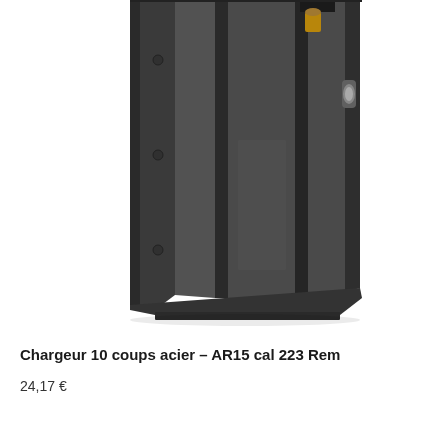[Figure (photo): A steel AR15 magazine with markings '06130101' and '223/5.56 SS' engraved on the side, shown against a white background. The magazine is dark metallic gray with ribbed surfaces.]
Chargeur 10 coups acier - AR15 cal 223 Rem
24,17 €